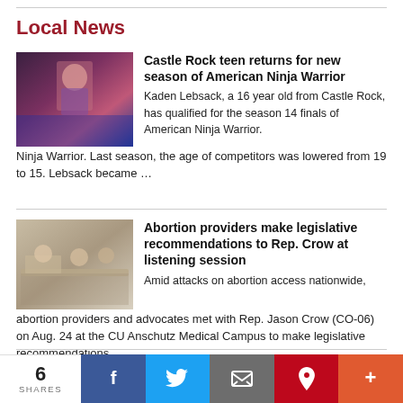Local News
[Figure (photo): Photo of a teen competitor on an obstacle course stage with dramatic lighting]
Castle Rock teen returns for new season of American Ninja Warrior
Kaden Lebsack, a 16 year old from Castle Rock, has qualified for the season 14 finals of American Ninja Warrior.  Last season, the age of competitors was lowered from 19 to 15. Lebsack became …
[Figure (photo): Photo of people sitting at a table during a meeting or listening session]
Abortion providers make legislative recommendations to Rep. Crow at listening session
Amid attacks on abortion access nationwide, abortion providers and advocates met with Rep. Jason Crow (CO-06) on Aug. 24 at the CU Anschutz Medical Campus to make legislative recommendations.
[Figure (photo): Partial photo of what appears to be a building or residential structure]
2022 sees strong residential and business
6 SHARES